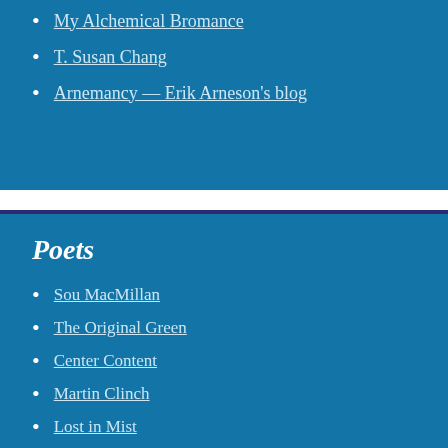My Alchemical Bromance
T. Susan Chang
Arnemancy — Erik Arneson's blog
Poets
Sou MacMillan
The Original Green
Center Content
Martin Clinch
Lost in Mist
Barefoot Wisdom
Tony Brown